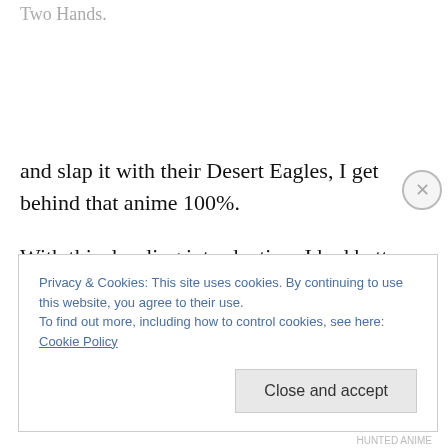Two Hands.
and slap it with their Desert Eagles, I get behind that anime 100%.
With this dazzling introduction, I had better “WOW” my readers, right? Well strap into your El Camino there, Wild Bill. This show will clash cars in the air, and unleash more shells than the Atlantic and Pacific Oceans combined.
Privacy & Cookies: This site uses cookies. By continuing to use this website, you agree to their use.
To find out more, including how to control cookies, see here: Cookie Policy
Close and accept